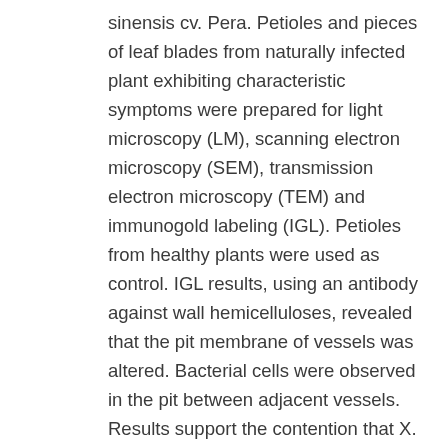sinensis cv. Pera. Petioles and pieces of leaf blades from naturally infected plant exhibiting characteristic symptoms were prepared for light microscopy (LM), scanning electron microscopy (SEM), transmission electron microscopy (TEM) and immunogold labeling (IGL). Petioles from healthy plants were used as control. IGL results, using an antibody against wall hemicelluloses, revealed that the pit membrane of vessels was altered. Bacterial cells were observed in the pit between adjacent vessels. Results support the contention that X. fastidiosa produces cellulases to reach adjacent vessels. SEM revealed that colonization of sweet orange started with X. fastidiosa cells attaching to the xylem wall, followed by an increase in the number of bacterial cells, the production of fibrous material, and finally vessel occlusion by biofilm composed of copious amounts of amorphous material, strands and cells. Phenolic materials, hyperplasia and hypertrophy were